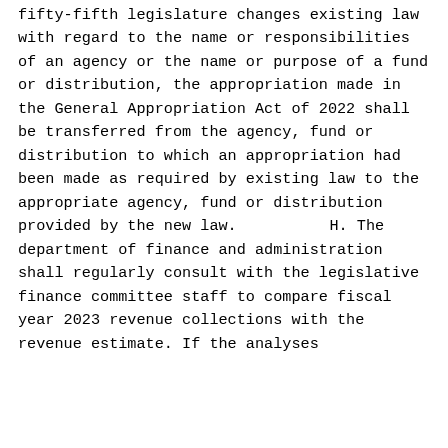fifty-fifth legislature changes existing law with regard to the name or responsibilities of an agency or the name or purpose of a fund or distribution, the appropriation made in the General Appropriation Act of 2022 shall be transferred from the agency, fund or distribution to which an appropriation had been made as required by existing law to the appropriate agency, fund or distribution provided by the new law.
        H. The department of finance and administration shall regularly consult with the legislative finance committee staff to compare fiscal year 2023 revenue collections with the revenue estimate. If the analyses